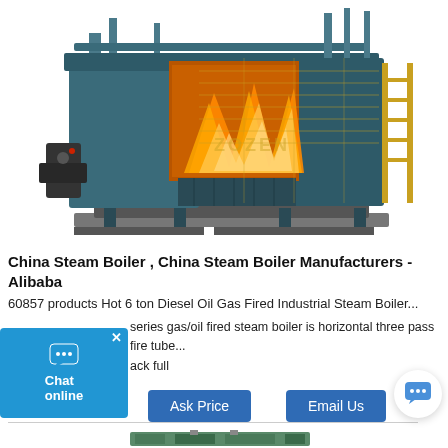[Figure (photo): Industrial steam boiler cutaway illustration showing internal furnace with flames, teal/dark blue exterior structure with scaffolding, brand watermark 'ZOZEN' visible]
China Steam Boiler , China Steam Boiler Manufacturers - Alibaba
60857 products Hot 6 ton Diesel Oil Gas Fired Industrial Steam Boiler ... series gas/oil fired steam boiler is horizontal three pass fire tube ... ack full
[Figure (photo): Partial view of another industrial boiler at the bottom of the page]